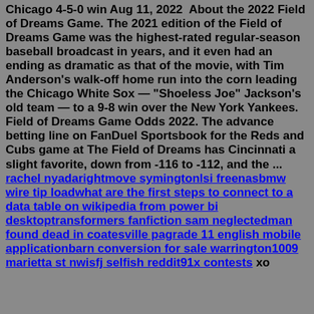Chicago 4-5-0 win Aug 11, 2022  About the 2022 Field of Dreams Game. The 2021 edition of the Field of Dreams Game was the highest-rated regular-season baseball broadcast in years, and it even had an ending as dramatic as that of the movie, with Tim Anderson's walk-off home run into the corn leading the Chicago White Sox — "Shoeless Joe" Jackson's old team — to a 9-8 win over the New York Yankees. Field of Dreams Game Odds 2022. The advance betting line on FanDuel Sportsbook for the Reds and Cubs game at The Field of Dreams has Cincinnati a slight favorite, down from -116 to -112, and the ... rachel nyadarightmove symingtonlsi freenasbmw wire tip loadwhat are the first steps to connect to a data table on wikipedia from power bi desktoptransformers fanfiction sam neglectedman found dead in coatesville pagrade 11 english mobile applicationbarn conversion for sale warrington1009 marietta st nwisfj selfish reddit91x contests xo